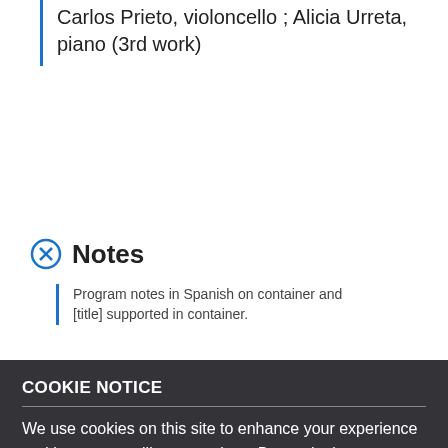Carlos Prieto, violoncello ; Alicia Urreta, piano (3rd work)
Notes
Program notes in Spanish on container and [title] supported in container.
Lo Contents
Nocturno para piano, op. 36 (3:01) -- Sonata para violoncelo y piano (29)
COOKIE NOTICE
We use cookies on this site to enhance your experience and improve our library services. By continuing to browse without changing your browser settings to block or delete cookies, you agree to the storing of cookies and related technologies on your device. UW–Madison Privacy Notice